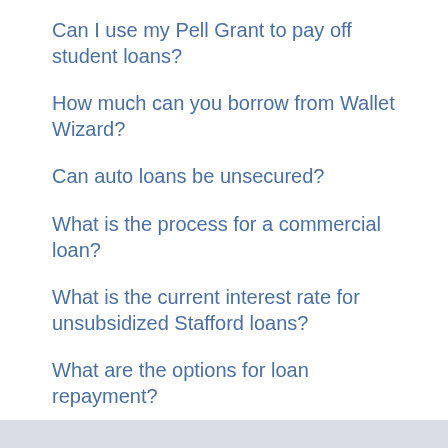Can I use my Pell Grant to pay off student loans?
How much can you borrow from Wallet Wizard?
Can auto loans be unsecured?
What is the process for a commercial loan?
What is the current interest rate for unsubsidized Stafford loans?
What are the options for loan repayment?